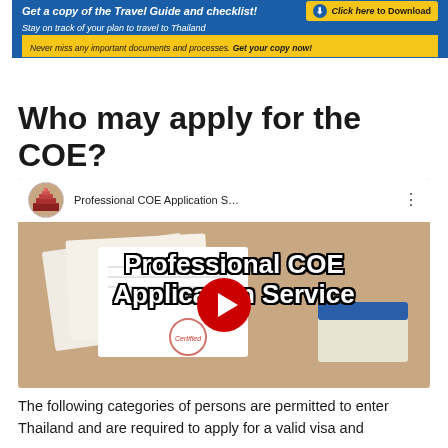[Figure (infographic): Blue banner advertisement for a Travel Guide and Checklist with yellow download button and yellow subtitle bar. Text: 'Get a copy of the Travel Guide and checklist! Stay on track of your plan to travel to Thailand. Never miss any important documents and processes. Get your copy now!']
Who may apply for the COE?
[Figure (screenshot): YouTube video thumbnail for 'Professional COE Application Service' showing legal documents on a table with bold white text overlay and a red YouTube play button in the center.]
The following categories of persons are permitted to enter Thailand and are required to apply for a valid visa and